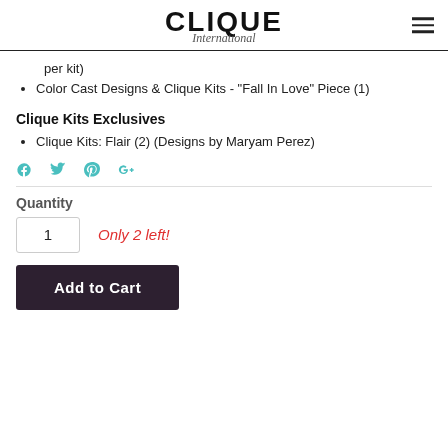CLIQUE International
per kit)
Color Cast Designs & Clique Kits - "Fall In Love" Piece (1)
Clique Kits Exclusives
Clique Kits: Flair (2) (Designs by Maryam Perez)
[Figure (infographic): Social share icons: Facebook, Twitter, Pinterest, Google+]
Quantity
1   Only 2 left!
Add to Cart